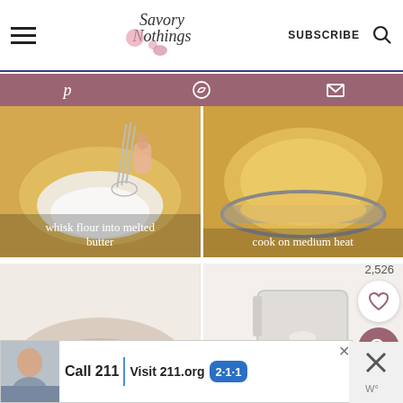Savory Nothings — SUBSCRIBE (search icon)
[Figure (screenshot): Navigation bar with hamburger menu, Savory Nothings logo, SUBSCRIBE text, and search icon]
[Figure (infographic): Mauve/dusty-rose social sharing bar with Pinterest, WhatsApp, and email icons]
[Figure (photo): Two cooking step photos side by side: left shows whisking flour into melted butter, right shows cooking on medium heat in a pan]
whisk flour into melted butter
cook on medium heat
[Figure (photo): Two cooking step photos side by side: left shows a creamy sauce in a bowl, right shows white sauce being poured]
2,526
[Figure (screenshot): Advertisement banner: Call 211 | Visit 211.org with 2-1-1 badge logo; close buttons on right]